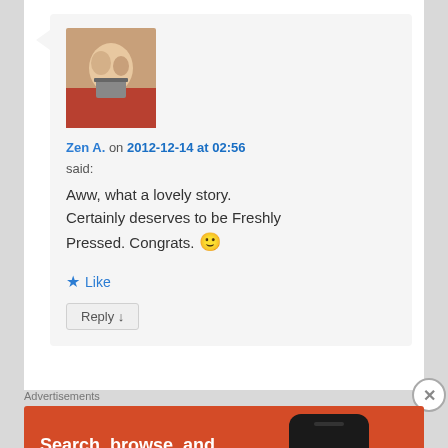[Figure (photo): Avatar photo of a small figurine or toy sitting and reading/typing, sepia-toned, on a red surface]
Zen A. on 2012-12-14 at 02:56 said:
Aww, what a lovely story. Certainly deserves to be Freshly Pressed. Congrats. 🙂
★ Like
Reply ↓
Advertisements
[Figure (infographic): DuckDuckGo advertisement banner with orange background. Text reads: Search, browse, and email with more privacy. All in One Free App. Shows a phone with DuckDuckGo logo.]